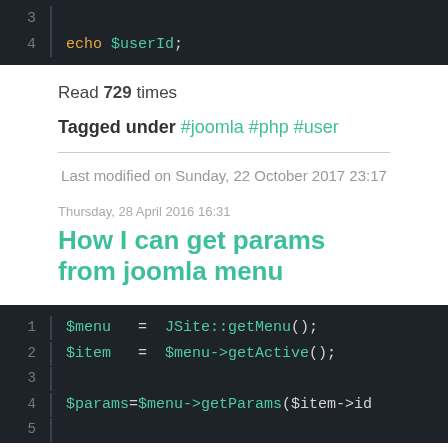[Figure (screenshot): Code block showing line 4: echo $userId; on dark background]
Read 729 times
Tagged under #joomla #php #user
Last modified on Sunday, 22 October 2017 23:17
Thursday, 28 April 2016 16:31
How I can get params from joomla menu
[Figure (screenshot): Code block showing lines 1-5: $menu = JSite::getMenu(); $item = $menu->getActive(); $params = $menu->getParams($item->id)]